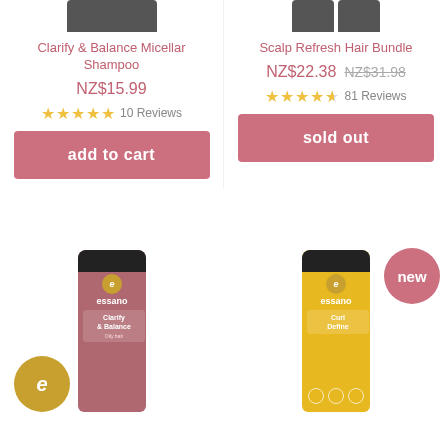[Figure (photo): Top cropped product images of two Essano hair products]
Clarify & Balance Micellar Shampoo
NZ$15.99
10 Reviews
add to cart
Scalp Refresh Hair Bundle
NZ$22.38 NZ$31.98
81 Reviews
sold out
[Figure (photo): Essano Clarify & Balance pink shampoo bottle with gold essano badge overlay]
[Figure (photo): Essano Curl Define yellow bottle with pink 'new' badge]